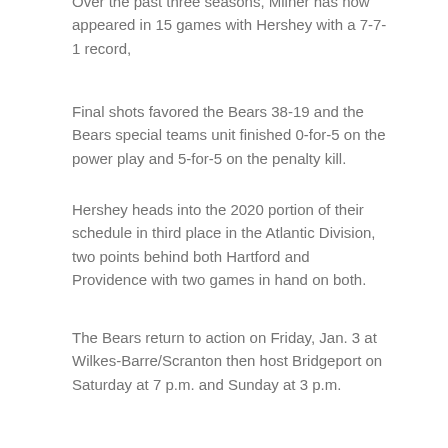Over the past three seasons, Milner has now appeared in 15 games with Hershey with a 7-7-1 record,
Final shots favored the Bears 38-19 and the Bears special teams unit finished 0-for-5 on the power play and 5-for-5 on the penalty kill.
Hershey heads into the 2020 portion of their schedule in third place in the Atlantic Division, two points behind both Hartford and Providence with two games in hand on both.
The Bears return to action on Friday, Jan. 3 at Wilkes-Barre/Scranton then host Bridgeport on Saturday at 7 p.m. and Sunday at 3 p.m.